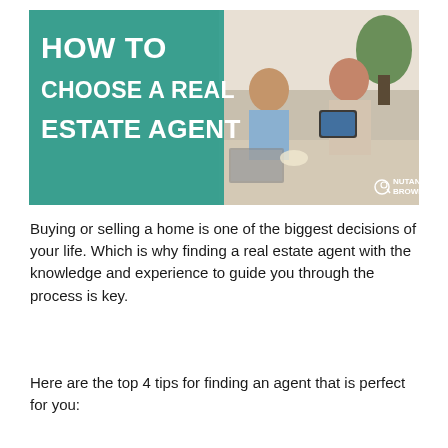[Figure (photo): Hero image with teal/green overlay on the left side showing bold white text 'HOW TO CHOOSE A REAL ESTATE AGENT', and a photo on the right showing two people consulting with a real estate agent holding a tablet, with a plant in background. Nutano Brown logo in bottom right corner.]
Buying or selling a home is one of the biggest decisions of your life. Which is why finding a real estate agent with the knowledge and experience to guide you through the process is key.
Here are the top 4 tips for finding an agent that is perfect for you: